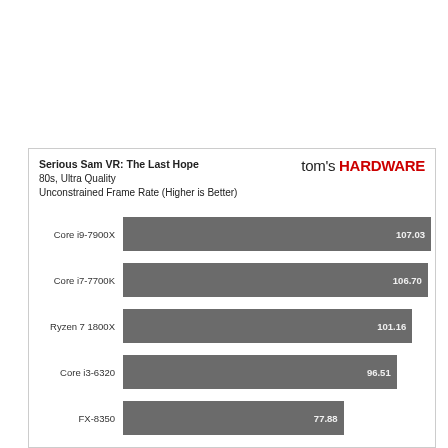[Figure (bar-chart): Serious Sam VR: The Last Hope — 80s, Ultra Quality — Unconstrained Frame Rate (Higher is Better)]